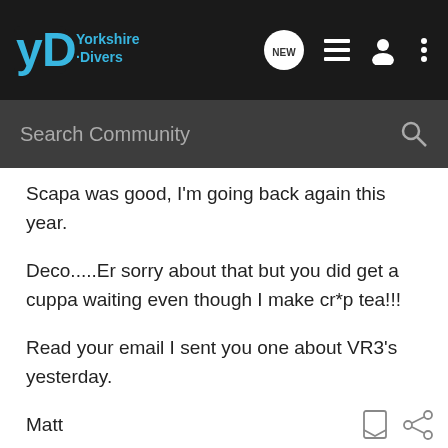[Figure (screenshot): Yorkshire Divers community forum navigation bar with logo and icons]
[Figure (screenshot): Search Community search bar]
Scapa was good, I'm going back again this year.
Deco.....Er sorry about that but you did get a cuppa waiting even though I make cr*p tea!!!
Read your email I sent you one about VR3's yesterday.
Matt
KISS CCR 227